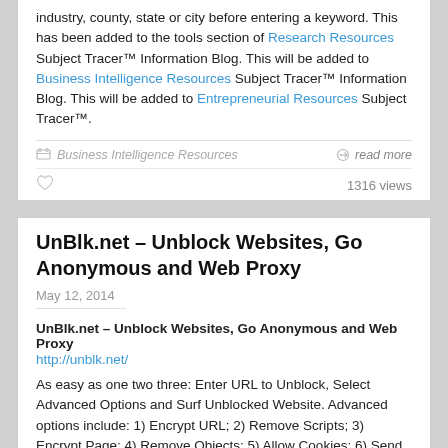industry, county, state or city before entering a keyword. This has been added to the tools section of Research Resources Subject Tracer™ Information Blog. This will be added to Business Intelligence Resources Subject Tracer™ Information Blog. This will be added to Entrepreneurial Resources Subject Tracer™.
Business Intelligence Resources   read more
1316 views
UnBlk.net – Unblock Websites, Go Anonymous and Web Proxy
May 12, 2014
UnBlk.net – Unblock Websites, Go Anonymous and Web Proxy
http://unblk.net/
As easy as one two three: Enter URL to Unblock, Select Advanced Options and Surf Unblocked Website. Advanced options include: 1) Encrypt URL; 2) Remove Scripts; 3) Encrypt Page; 4) Remove Objects; 5) Allow Cookies; 6) Send Real Referrer; 7) Use Agent; and 8) Referrer. This will be added to Privacy Resources Subject Tracer™.